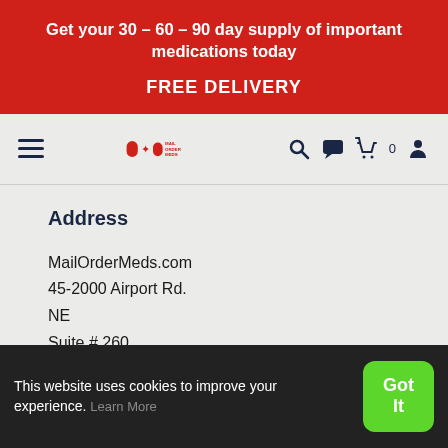Get your 30 – 60 – 90 day supply of important medications today
FREE DELIVERY
[Figure (logo): Mail Order Meds logo with red pill capsule and maple leaf icons and text MAIL ORDER MEDS]
Address
MailOrderMeds.com
45-2000 Airport Rd.
NE
Suite # 260
Calgary, AB T2E 6W5
This website uses cookies to improve your experience. Learn More